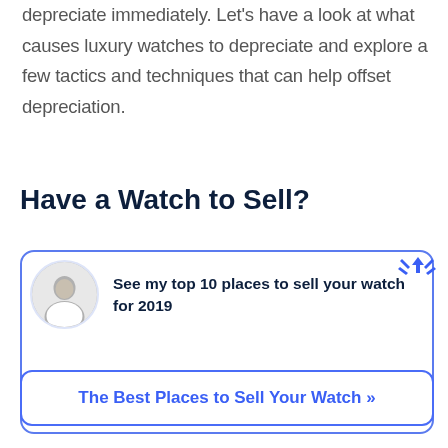depreciate immediately. Let's have a look at what causes luxury watches to depreciate and explore a few tactics and techniques that can help offset depreciation.
Have a Watch to Sell?
See my top 10 places to sell your watch for 2019
The Best Places to Sell Your Watch »